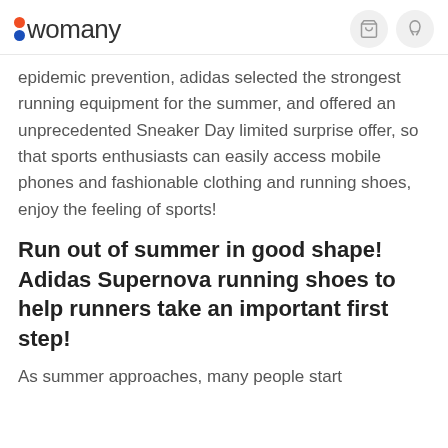womany
epidemic prevention, adidas selected the strongest running equipment for the summer, and offered an unprecedented Sneaker Day limited surprise offer, so that sports enthusiasts can easily access mobile phones and fashionable clothing and running shoes, enjoy the feeling of sports!
Run out of summer in good shape! Adidas Supernova running shoes to help runners take an important first step!
As summer approaches, many people start